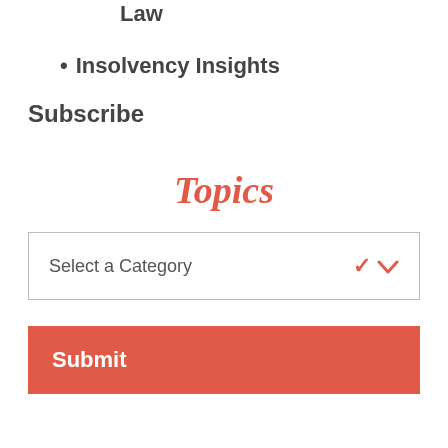Law
Insolvency Insights
Subscribe
Topics
Select a Category
Submit
[Figure (illustration): Repeating watermark pattern of small triangular arrow shapes in light gray arranged in a grid]